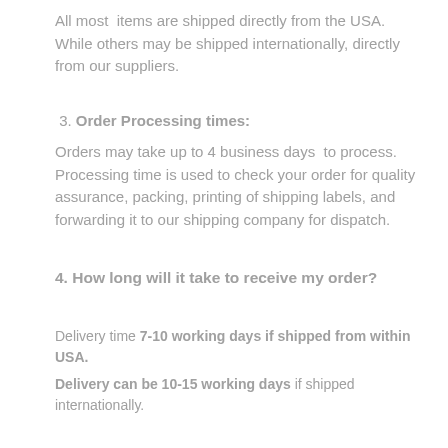All most items are shipped directly from the USA. While others may be shipped internationally, directly from our suppliers.
3. Order Processing times:
Orders may take up to 4 business days to process. Processing time is used to check your order for quality assurance, packing, printing of shipping labels, and forwarding it to our shipping company for dispatch.
4. How long will it take to receive my order?
Delivery time 7-10 working days if shipped from within USA.
Delivery can be 10-15 working days if shipped internationally.